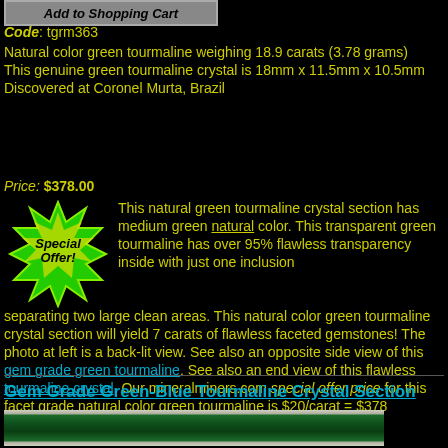Add to Shopping Cart
Code: tgrm363
Natural color green tourmaline weighing 18.9 carats (3.78 grams) This genuine green tourmaline crystal is 18mm x 11.5mm x 10.5mm Discovered at Coronel Murta, Brazil
Price: $378.00
[Figure (illustration): Special Offer starburst badge in green and yellow]
This natural green tourmaline crystal section has medium green natural color. This transparent green tourmaline has over 95% flawless transparency inside with just one inclusion separating two large clean areas. This natural color green tourmaline crystal section will yield 7 carats of flawless faceted gemstones! The photo at left is a back-lit view. See also an opposite side view of this gem grade green tourmaline. See also an end view of this flawless tourmaline crystal. Our mineralminers.com special offer price for this facet grade natural color green tourmaline is $20/carat = $378
Gem Grade Green-Blue Tourmaline Crystal Section
[Figure (photo): Photo of a dark green tourmaline crystal section]